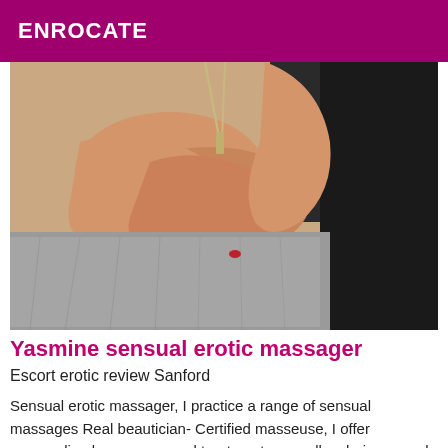ENROCATE
[Figure (photo): Close-up photo of a woman's arms and shoulders resting on a gray fur surface, wearing a silver necklace against a dark background]
Yasmine sensual erotic massager
Escort erotic review Sanford
Sensual erotic massager, I practice a range of sensual massages Real beautician- Certified masseuse, I offer personalized massages and treatments as well as hair removal in a warm atmosphere and impeccable hygiene